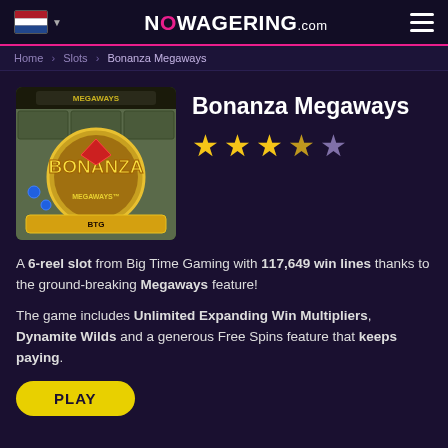NOWAGERING.com
Home > Slots > Bonanza Megaways
[Figure (screenshot): Bonanza Megaways slot game thumbnail showing the Bonanza logo with a golden circular design and Megaways branding on a stone/rock background]
Bonanza Megaways
4 out of 5 stars rating
A 6-reel slot from Big Time Gaming with 117,649 win lines thanks to the ground-breaking Megaways feature!
The game includes Unlimited Expanding Win Multipliers, Dynamite Wilds and a generous Free Spins feature that keeps paying.
PLAY